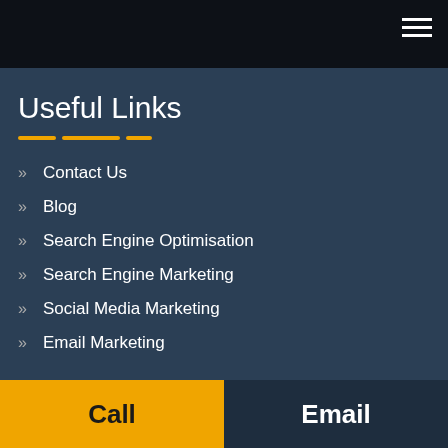Useful Links
Contact Us
Blog
Search Engine Optimisation
Search Engine Marketing
Social Media Marketing
Email Marketing
Call
Email